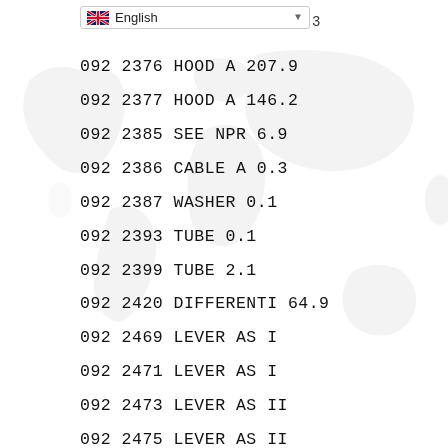English   3
092 2376 HOOD A 207.9
092 2377 HOOD A 146.2
092 2385 SEE NPR 6.9
092 2386 CABLE A 0.3
092 2387 WASHER 0.1
092 2393 TUBE 0.1
092 2399 TUBE 2.1
092 2420 DIFFERENTI 64.9
092 2469 LEVER AS I
092 2471 LEVER AS I
092 2473 LEVER AS II
092 2475 LEVER AS II